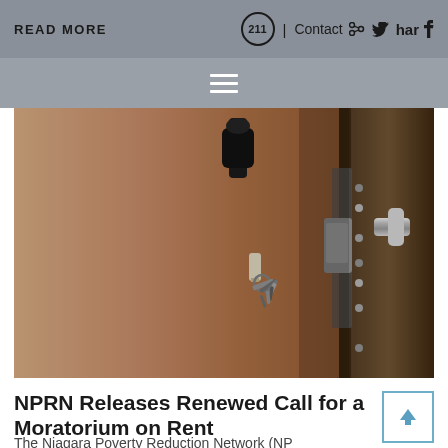READ MORE | Contact Share
[Figure (photo): Close-up photo of a door lock and handle with keys inserted, warm brown/sepia tones]
NPRN Releases Renewed Call for a Moratorium on Rent
The Niagara Poverty Reduction Network (NP...